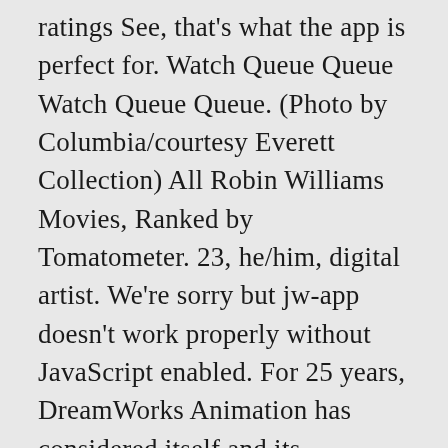ratings See, that's what the app is perfect for. Watch Queue Queue Watch Queue Queue. (Photo by Columbia/courtesy Everett Collection) All Robin Williams Movies, Ranked by Tomatometer. 23, he/him, digital artist. We're sorry but jw-app doesn't work properly without JavaScript enabled. For 25 years, DreamWorks Animation has considered itself and its characters part of your family. Fandango entertains and informs consumers with reviews, commentary, celebrity interviews and trailers, and offers the ability to quickly select a film, plan where ... Antara resepi yg terdapat di dalam aplikasi Aneka Mee Laksa Pasta ini ialah:- Resepi Aneka Mee 1) Mee Kari Kerang 2) Mee Rebus Johor 3) Mee Kicap Special 4) Mee